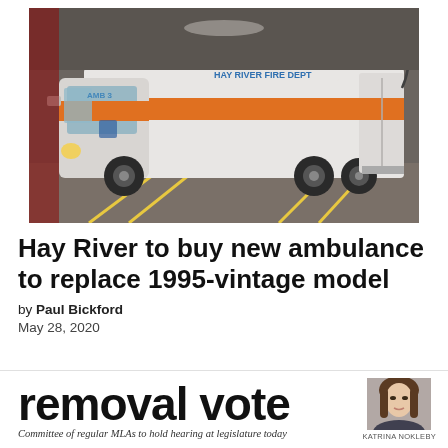[Figure (photo): White ambulance with orange stripe parked in a bay, labeled HAY RIVER FIRE DEPT on top. The vehicle has yellow floor markings visible.]
Hay River to buy new ambulance to replace 1995-vintage model
by Paul Bickford
May 28, 2020
removal vote
[Figure (photo): Headshot photo of Katrina Nokleby]
Committee of regular MLAs to hold hearing at legislature today